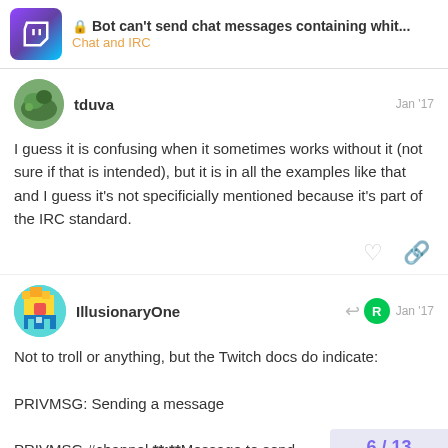Bot can't send chat messages containing whit... | Chat and IRC
tduva  Jan '17
I guess it is confusing when it sometimes works without it (not sure if that is intended), but it is in all the examples like that and I guess it's not specificially mentioned because it's part of the IRC standard.
IllusionaryOne  Jan '17
Not to troll or anything, but the Twitch docs do indicate:
PRIVMSG: Sending a message
PRIVMSG #channel **:**Message to send